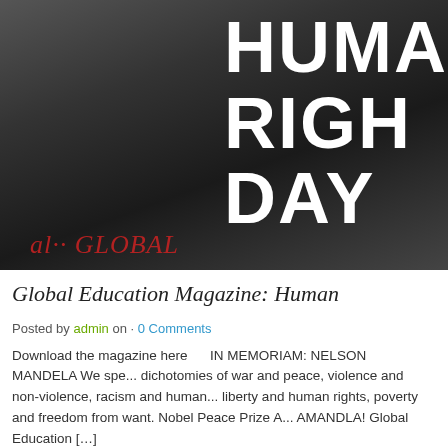[Figure (photo): Black and white photograph with bold white text overlay reading 'HUMAN RIGHTS DAY' and red italic script text at the bottom left reading 'al... GLOBAL']
Global Education Magazine: Human...
Posted by admin on · 0 Comments
Download the magazine here     IN MEMORIAM: NELSON MANDELA We spe... dichotomies of war and peace, violence and non-violence, racism and human... liberty and human rights, poverty and freedom from want. Nobel Peace Prize A... AMANDLA! Global Education [...]